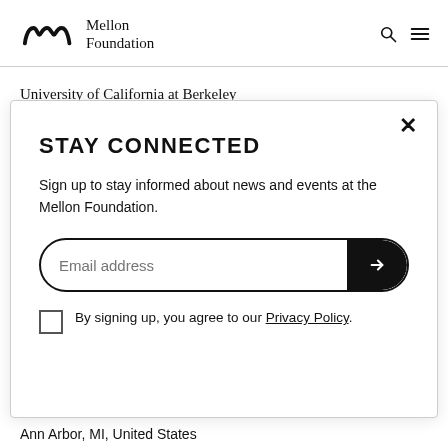Mellon Foundation
University of California at Berkeley
New Models of Library Service
STAY CONNECTED
Sign up to stay informed about news and events at the Mellon Foundation.
Email address
By signing up, you agree to our Privacy Policy.
Ann Arbor, MI, United States